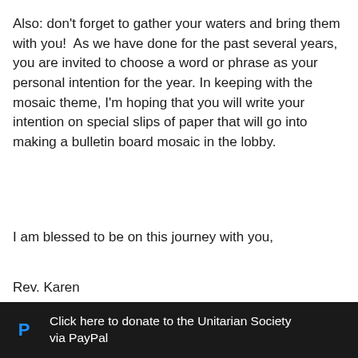Also: don't forget to gather your waters and bring them with you!  As we have done for the past several years, you are invited to choose a word or phrase as your personal intention for the year. In keeping with the mosaic theme, I'm hoping that you will write your intention on special slips of paper that will go into making a bulletin board mosaic in the lobby.
I am blessed to be on this journey with you,
Rev. Karen
[Figure (other): Dark footer bar with PayPal logo icon and text: Click here to donate to the Unitarian Society via PayPal]